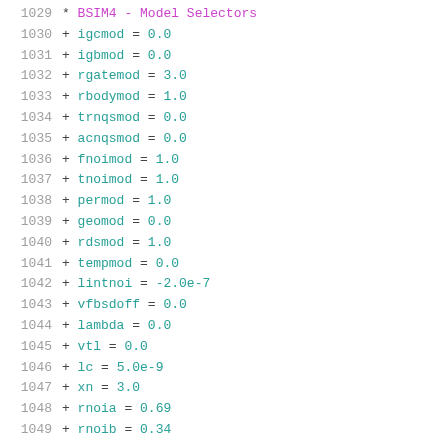1029  * BSIM4 - Model Selectors
1030  + igcmod = 0.0
1031  + igbmod = 0.0
1032  + rgatemod = 3.0
1033  + rbodymod = 1.0
1034  + trnqsmod = 0.0
1035  + acnqsmod = 0.0
1036  + fnoimod = 1.0
1037  + tnoimod = 1.0
1038  + permod = 1.0
1039  + geomod = 0.0
1040  + rdsmod = 1.0
1041  + tempmod = 0.0
1042  + lintnoi = -2.0e-7
1043  + vfbsdoff = 0.0
1044  + lambda = 0.0
1045  + vtl = 0.0
1046  + lc = 5.0e-9
1047  + xn = 3.0
1048  + rnoia = 0.69
1049  + rnoib = 0.34